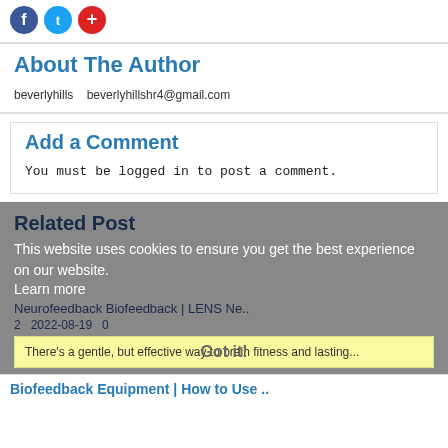[Figure (illustration): Social media share icons: Facebook (blue circle), Twitter (blue circle), plus/add (red circle)]
About The Author
beverlyhills   beverlyhillshr4@gmail.com
Add a Comment
You must be logged in to post a comment.
Related Post
This website uses cookies to ensure you get the best experience on our website.
Learn more
Neurofeedback Biofeedback | LENS Ne..
2  2022-08-19  0
There's a gentle, but effective way to brain fitness and lasting...
Got it!
Biofeedback Equipment | How to Use ..